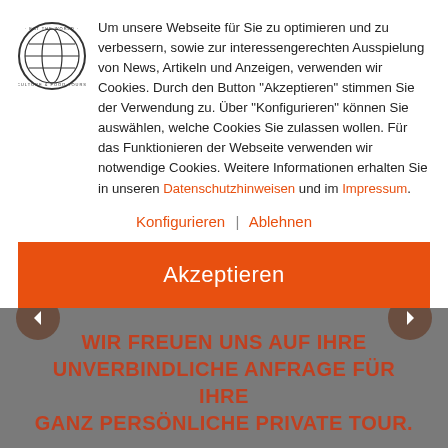[Figure (logo): Round logo with globe icon and text 'EAT THE WORLD · CULTURE & FOOD TOURS']
Um unsere Webseite für Sie zu optimieren und zu verbessern, sowie zur interessengerechten Ausspielung von News, Artikeln und Anzeigen, verwenden wir Cookies. Durch den Button "Akzeptieren" stimmen Sie der Verwendung zu. Über "Konfigurieren" können Sie auswählen, welche Cookies Sie zulassen wollen. Für das Funktionieren der Webseite verwenden wir notwendige Cookies. Weitere Informationen erhalten Sie in unseren Datenschutzhinweisen und im Impressum.
Konfigurieren | Ablehnen
Akzeptieren
WIR FREUEN UNS AUF IHRE UNVERBINDLICHE ANFRAGE FÜR IHRE GANZ PERSÖNLICHE PRIVATE TOUR.